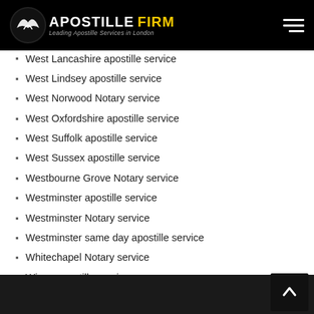[Figure (logo): Apostille Firm logo with bird icon, white text 'APOSTILLE' and yellow text 'FIRM', subtitle 'Leading Apostille Services in London']
West Lancashire apostille service
West Lindsey apostille service
West Norwood Notary service
West Oxfordshire apostille service
West Suffolk apostille service
West Sussex apostille service
Westbourne Grove Notary service
Westminster apostille service
Westminster Notary service
Westminster same day apostille service
Whitechapel Notary service
Wigan apostille service
Willesden Green Notary service
Wiltshire apostille service
Wimbledon Notary service
Windsor and Maidenhead apostille service